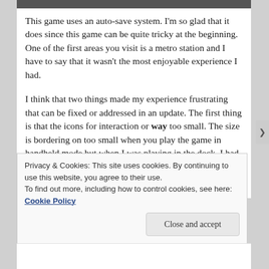[Figure (photo): Partial photo strip visible at top of page]
This game uses an auto-save system. I'm so glad that it does since this game can be quite tricky at the beginning. One of the first areas you visit is a metro station and I have to say that it wasn't the most enjoyable experience I had.
I think that two things made my experience frustrating that can be fixed or addressed in an update. The first thing is that the icons for interaction or way too small. The size is bordering on too small when you play the game in handheld mode but when I was playing in the dock, I had to sit a bit too close to my TV for comfort to see the interaction icons.
Privacy & Cookies: This site uses cookies. By continuing to use this website, you agree to their use.
To find out more, including how to control cookies, see here: Cookie Policy
Close and accept